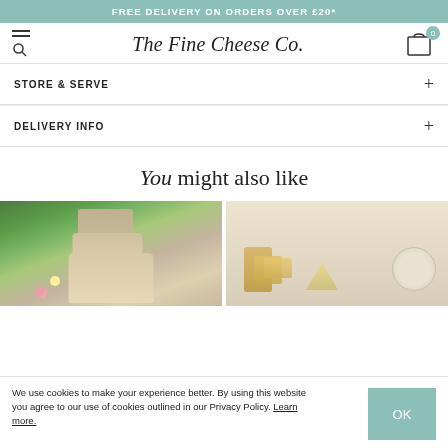FREE DELIVERY ON ORDERS OVER £20*
[Figure (logo): The Fine Cheese Co. logo with navigation icons]
STORE & SERVE
DELIVERY INFO
You might also like
[Figure (photo): Stacked cheese cake with flowers outdoors]
[Figure (photo): Stacked crackers, cheese wedge and round cheese on beige background]
We use cookies to make your experience better. By using this website you agree to our use of cookies outlined in our Privacy Policy. Learn more.